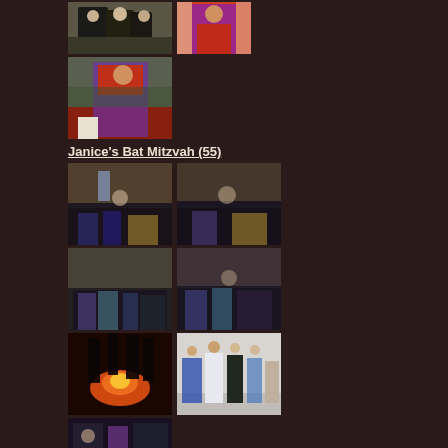[Figure (photo): Photo of people in costumes outdoors, top left]
[Figure (photo): Photo of person in colorful costume outdoors, top right]
[Figure (photo): Larger photo of person in colorful red and purple costume outdoors]
Janice's Bat Mitzvah (55)
[Figure (photo): Blurry photo of people dancing at bat mitzvah reception, indoor venue]
[Figure (photo): Blurry photo of people dancing at bat mitzvah reception, indoor venue]
[Figure (photo): Blurry photo of people dancing at bat mitzvah reception, wider shot]
[Figure (photo): Blurry photo of people dancing at bat mitzvah reception, wider shot]
[Figure (photo): Dark photo with orange/red lighting, silhouette of hand]
[Figure (photo): Photo of group of people dancing/celebrating at bat mitzvah]
[Figure (photo): Partial photo of people at event, bottom of page]